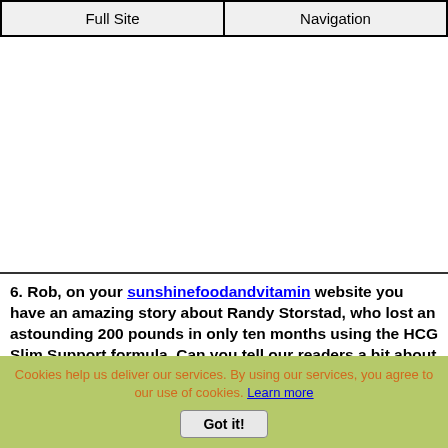Full Site | Navigation
[Figure (other): White blank space area between navigation and article text]
6. Rob, on your sunshinefoodandvitamin website you have an amazing story about Randy Storstad, who lost an astounding 200 pounds in only ten months using the HCG Slim Support formula. Can you tell our readers a bit about this tremendous weight loss program and the success
Cookies help us deliver our services. By using our services, you agree to our use of cookies. Learn more
Got it!